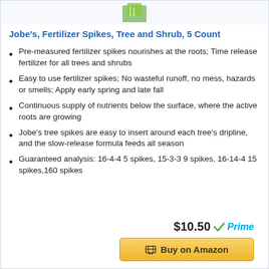Jobe's, Fertilizer Spikes, Tree and Shrub, 5 Count
Pre-measured fertilizer spikes nourishes at the roots; Time release fertilizer for all trees and shrubs
Easy to use fertilizer spikes; No wasteful runoff, no mess, hazards or smells; Apply early spring and late fall
Continuous supply of nutrients below the surface, where the active roots are growing
Jobe's tree spikes are easy to insert around each tree's dripline, and the slow-release formula feeds all season
Guaranteed analysis: 16-4-4 5 spikes, 15-3-3 9 spikes, 16-14-4 15 spikes,160 spikes
$10.50 √Prime
Buy on Amazon